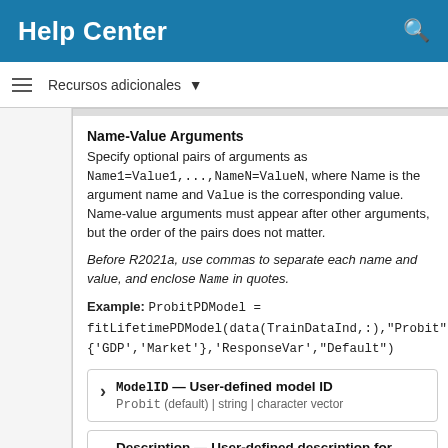Help Center
Recursos adicionales
Name-Value Arguments
Specify optional pairs of arguments as Name1=Value1,...,NameN=ValueN, where Name is the argument name and Value is the corresponding value. Name-value arguments must appear after other arguments, but the order of the pairs does not matter.
Before R2021a, use commas to separate each name and value, and enclose Name in quotes.
Example: ProbitPDModel = fitLifetimePDModel(data(TrainDataInd,:),"Probit",{'GDP','Market'},'ResponseVar',"Default")
ModelID — User-defined model ID
Probit (default) | string | character vector
Description — User-defined description for